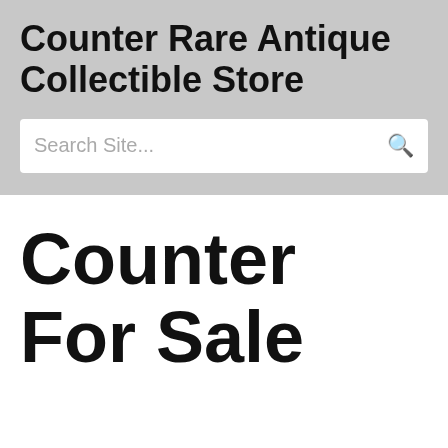Counter Rare Antique Collectible Store
Search Site...
Counter For Sale